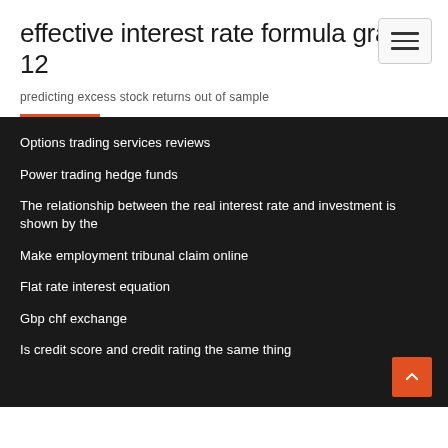effective interest rate formula grade 12
predicting excess stock returns out of sample
Options trading services reviews
Power trading hedge funds
The relationship between the real interest rate and investment is shown by the
Make employment tribunal claim online
Flat rate interest equation
Gbp chf exchange
Is credit score and credit rating the same thing